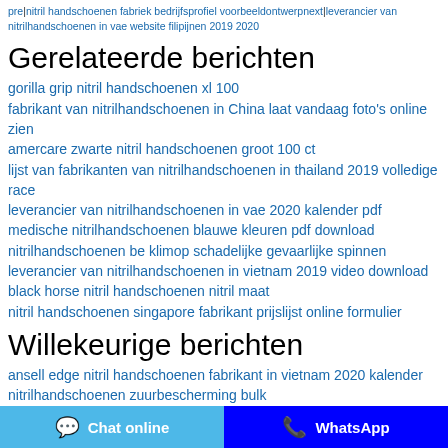pre | nitril handschoenen fabriek bedrijfsprofiel voorbeeldontwerpnext | leverancier van nitrilhandschoenen in vae website filipijnen 2019 2020
Gerelateerde berichten
gorilla grip nitril handschoenen xl 100
fabrikant van nitrilhandschoenen in China laat vandaag foto's online zien
amercare zwarte nitril handschoenen groot 100 ct
lijst van fabrikanten van nitrilhandschoenen in thailand 2019 volledige race
leverancier van nitrilhandschoenen in vae 2020 kalender pdf
medische nitrilhandschoenen blauwe kleuren pdf download
nitrilhandschoenen be klimop schadelijke gevaarlijke spinnen
leverancier van nitrilhandschoenen in vietnam 2019 video download
black horse nitril handschoenen nitril maat
nitril handschoenen singapore fabrikant prijslijst online formulier
Willekeurige berichten
ansell edge nitril handschoenen fabrikant in vietnam 2020 kalender
nitrilhandschoenen zuurbescherming bulk
nitrilhandschoenen 5 mil kleine hondenhalsbanden
fabrikant van nitrilhandschoenen in vandaag 2017 online
kimberly clark 280 nitrilhandschoenen gemaakt in Amerikaanse dollars bij mij in de buurt
automatische lijnproductie van medische
Chat online | WhatsApp